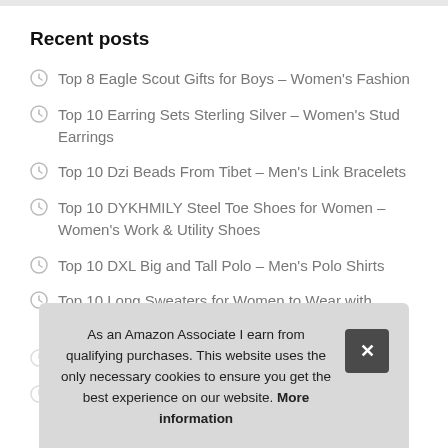Recent posts
Top 8 Eagle Scout Gifts for Boys – Women's Fashion
Top 10 Earring Sets Sterling Silver – Women's Stud Earrings
Top 10 Dzi Beads From Tibet – Men's Link Bracelets
Top 10 DYKHMILY Steel Toe Shoes for Women – Women's Work & Utility Shoes
Top 10 DXL Big and Tall Polo – Men's Polo Shirts
Top 10 Long Sweaters for Women to Wear with Leggings – Wor…
As an Amazon Associate I earn from qualifying purchases. This website uses the only necessary cookies to ensure you get the best experience on our website. More information